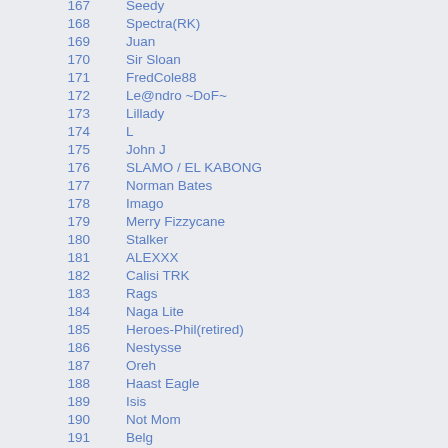| Rank | Name |
| --- | --- |
| 167 | Seedy |
| 168 | Spectra(RK) |
| 169 | Juan |
| 170 | Sir Sloan |
| 171 | FredCole88 |
| 172 | Le@ndro ~DoF~ |
| 173 | Lillady |
| 174 | L |
| 175 | John J |
| 176 | SLAMO / EL KABONG |
| 177 | Norman Bates |
| 178 | Imago |
| 179 | Merry Fizzycane |
| 180 | Stalker |
| 181 | ALEXXX |
| 182 | Calisi TRK |
| 183 | Rags |
| 184 | Naga Lite |
| 185 | Heroes-Phil(retired) |
| 186 | Nestysse |
| 187 | Oreh |
| 188 | Haast Eagle |
| 189 | Isis |
| 190 | Not Mom |
| 191 | Belg |
| 192 | Doc ~RK~ |
| 193 | JC Chin |
| 194 | GuenhwYvar |
| 195 | Jacko |
| 196 | VoodoO#Tec# |
| 197 | Black Tulin |